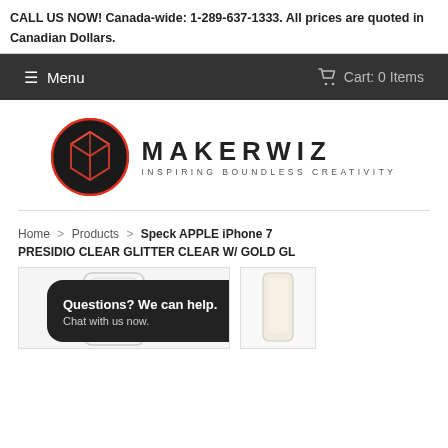CALL US NOW! Canada-wide: 1-289-637-1333. All prices are quoted in Canadian Dollars.
≡ Menu    🛒 Cart: 0 Items
[Figure (logo): Makerwiz logo: dark circle with red-outlined 3D box icon, text MAKERWIZ and tagline INSPIRING BOUNDLESS CREATIVITY]
Home > Products > Speck APPLE iPhone 7 PRESIDIO CLEAR GLITTER CLEAR W/ GOLD GL
[Figure (photo): Product image area with chat popup overlay reading 'Questions? We can help. Chat with us now.' and a small thumbnail of a phone case on the right]